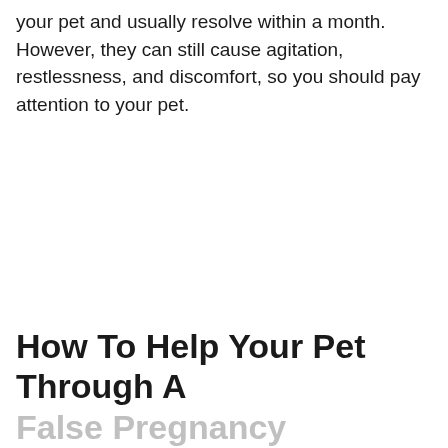your pet and usually resolve within a month. However, they can still cause agitation, restlessness, and discomfort, so you should pay attention to your pet.
How To Help Your Pet Through A False Pregnancy